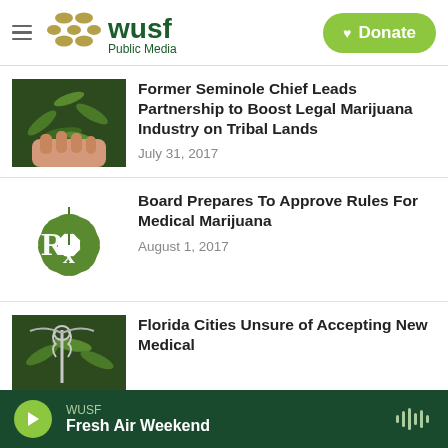WUSF Public Media — Donate
[Figure (photo): WUSF Public Media logo with gold dot pattern and green text, plus green Donate button]
[Figure (photo): Photo of a hand holding marijuana/cannabis plant leaves]
Former Seminole Chief Leads Partnership to Boost Legal Marijuana Industry on Tribal Lands
July 31, 2017
[Figure (illustration): Illustration of a marijuana leaf with Rx medical prescription symbol]
Board Prepares To Approve Rules For Medical Marijuana
August 1, 2017
[Figure (photo): Photo of caduceus medical symbol overlaid on cannabis leaves — Florida Cities Unsure of Accepting New Medical story]
Florida Cities Unsure of Accepting New Medical
WUSF — Fresh Air Weekend (audio player bar)